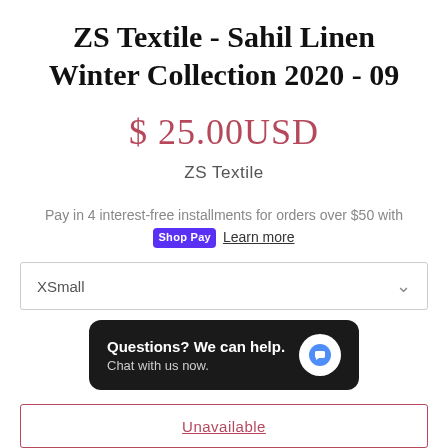ZS Textile - Sahil Linen Winter Collection 2020 - 09
$ 25.00USD
ZS Textile
Pay in 4 interest-free installments for orders over $50 with Shop Pay Learn more
XSmall
Questions? We can help. Chat with us now.
Unavailable